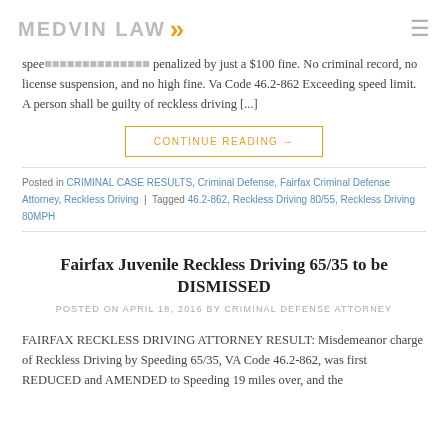MEDVIN LAW
Reckless Driving 80/55 on A REDUCED and AMENDED to a non-criminal speeding violation, no criminal record, penalized by just a $100 fine. No criminal record, no license suspension, and no high fine. Va Code 46.2-862 Exceeding speed limit. A person shall be guilty of reckless driving [...]
CONTINUE READING →
Posted in CRIMINAL CASE RESULTS, Criminal Defense, Fairfax Criminal Defense Attorney, Reckless Driving | Tagged 46.2-862, Reckless Driving 80/55, Reckless Driving 80MPH
Fairfax Juvenile Reckless Driving 65/35 to be DISMISSED
POSTED ON APRIL 18, 2016 BY CRIMINAL DEFENSE ATTORNEY
FAIRFAX RECKLESS DRIVING ATTORNEY RESULT: Misdemeanor charge of Reckless Driving by Speeding 65/35, VA Code 46.2-862, was first REDUCED and AMENDED to Speeding 19 miles over, and the